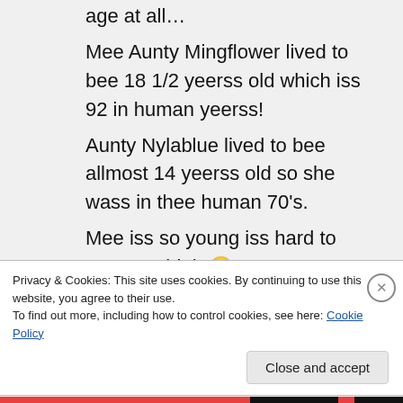…age at all… Mee Aunty Mingflower lived to bee 18 1/2 yeerss old which iss 92 in human yeerss! Aunty Nylablue lived to bee allmost 14 yeerss old so she wass in thee human 70's. Mee iss so young iss hard to count so high 😉 Mee bee rite over! Wanna play
Privacy & Cookies: This site uses cookies. By continuing to use this website, you agree to their use.
To find out more, including how to control cookies, see here: Cookie Policy
Close and accept